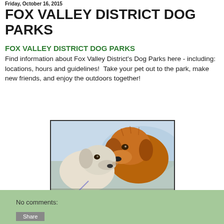Friday, October 16, 2015
FOX VALLEY DISTRICT DOG PARKS
FOX VALLEY DISTRICT DOG PARKS
Find information about Fox Valley District's Dog Parks here - including: locations, hours and guidelines!  Take your pet out to the park, make new friends, and enjoy the outdoors together!
[Figure (photo): A golden retriever and a small white dog touching noses, photographed outdoors.]
No comments:
Share